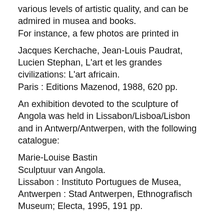various levels of artistic quality, and can be admired in musea and books.
For instance, a few photos are printed in
Jacques Kerchache, Jean-Louis Paudrat, Lucien Stephan, L'art et les grandes civilizations: L'art africain.
Paris : Editions Mazenod, 1988, 620 pp.
An exhibition devoted to the sculpture of Angola was held in Lissabon/Lisboa/Lisbon and in Antwerp/Antwerpen, with the following catalogue:
Marie-Louise Bastin
Sculptuur van Angola.
Lissabon : Instituto Portugues de Musea, Antwerpen : Stad Antwerpen, Ethnografisch Museum; Electa, 1995, 191 pp.